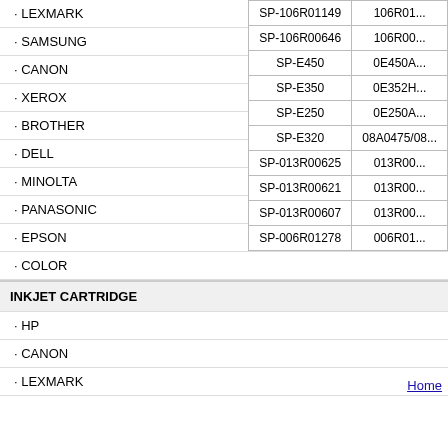· LEXMARK
· SAMSUNG
· CANON
· XEROX
· BROTHER
· DELL
· MINOLTA
· PANASONIC
· EPSON
· COLOR
INKJET CARTRIDGE
· HP
· CANON
· LEXMARK
| SP Code | Code |
| --- | --- |
| SP-106R01149 | 106R01... |
| SP-106R00646 | 106R00... |
| SP-E450 | 0E450A... |
| SP-E350 | 0E352H... |
| SP-E250 | 0E250A... |
| SP-E320 | 08A0475/08... |
| SP-013R00625 | 013R00... |
| SP-013R00621 | 013R00... |
| SP-013R00607 | 013R00... |
| SP-006R01278 | 006R01... |
Home